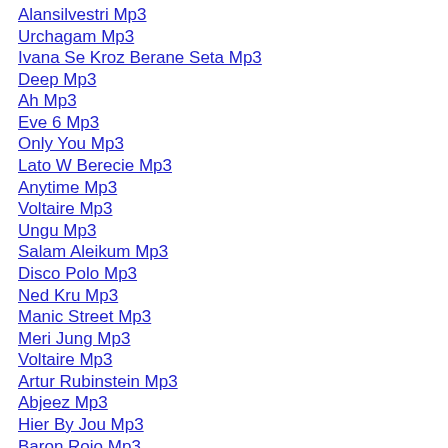Alansilvestri Mp3
Urchagam Mp3
Ivana Se Kroz Berane Seta Mp3
Deep Mp3
Ah Mp3
Eve 6 Mp3
Only You Mp3
Lato W Berecie Mp3
Anytime Mp3
Voltaire Mp3
Ungu Mp3
Salam Aleikum Mp3
Disco Polo Mp3
Ned Kru Mp3
Manic Street Mp3
Meri Jung Mp3
Voltaire Mp3
Artur Rubinstein Mp3
Abjeez Mp3
Hier By Jou Mp3
Baron Rojo Mp3
Nobodyknows Mp3
Type Mp3 Keywords Herepussycat
Dizzy Stratford Glasnost Mp3
Avril Lavigne Mp3